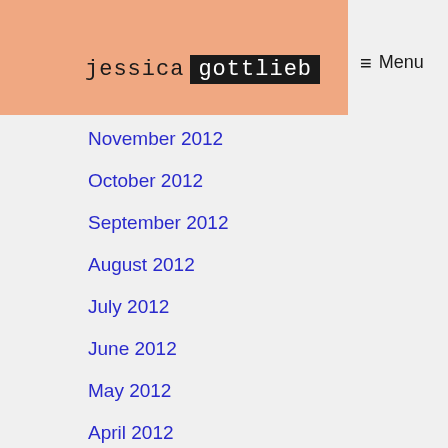[Figure (logo): Jessica Gottlieb blog logo — 'jessica' in monospace and 'gottlieb' in white on black background, on a salmon/peach colored banner]
≡ Menu
November 2012
October 2012
September 2012
August 2012
July 2012
June 2012
May 2012
April 2012
March 2012